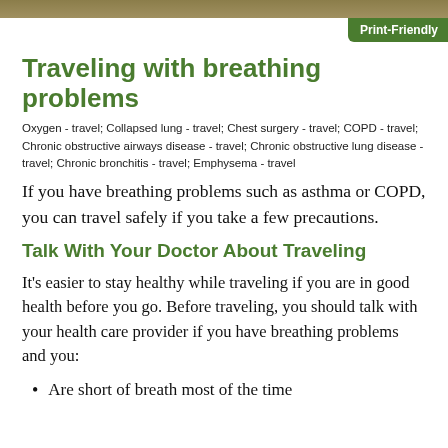Print-Friendly
Traveling with breathing problems
Oxygen - travel; Collapsed lung - travel; Chest surgery - travel; COPD - travel; Chronic obstructive airways disease - travel; Chronic obstructive lung disease - travel; Chronic bronchitis - travel; Emphysema - travel
If you have breathing problems such as asthma or COPD, you can travel safely if you take a few precautions.
Talk With Your Doctor About Traveling
It's easier to stay healthy while traveling if you are in good health before you go. Before traveling, you should talk with your health care provider if you have breathing problems and you:
Are short of breath most of the time